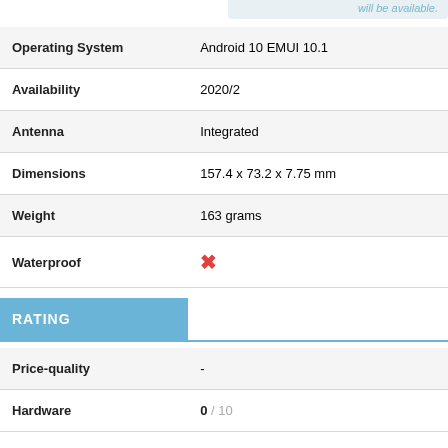will be available.
| Attribute | Value |
| --- | --- |
| Operating System | Android 10 EMUI 10.1 |
| Availability | 2020/2 |
| Antenna | Integrated |
| Dimensions | 157.4 x 73.2 x 7.75 mm |
| Weight | 163 grams |
| Waterproof | ✗ |
RATING
| Attribute | Value |
| --- | --- |
| Price-quality | - |
| Hardware | 0 / 10 |